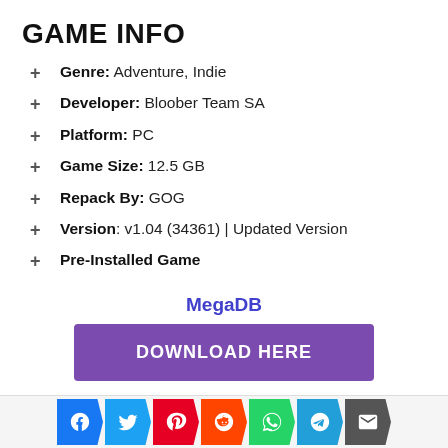GAME INFO
Genre: Adventure, Indie
Developer: Bloober Team SA
Platform: PC
Game Size: 12.5 GB
Repack By: GOG
Version: v1.04 (34361) | Updated Version
Pre-Installed Game
MegaDB
DOWNLOAD HERE
[Figure (infographic): Social media sharing icons: Facebook, Twitter, Pinterest, Reddit, WhatsApp, Telegram, Email]